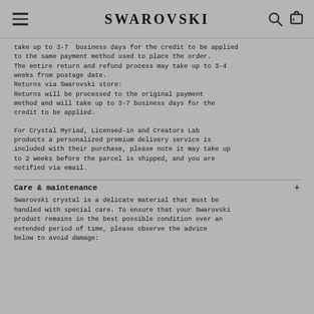SWAROVSKI
take up to 3-7 business days for the credit to be applied to the same payment method used to place the order. The entire return and refund process may take up to 3-4 weeks from postage date.
Returns via Swarovski store:
Returns will be processed to the original payment method and will take up to 3-7 business days for the credit to be applied.
For Crystal Myriad, Licensed-in and Creators Lab products a personalized premium delivery service is included with their purchase, please note it may take up to 2 weeks before the parcel is shipped, and you are notified via email.
Care & maintenance
Swarovski crystal is a delicate material that must be handled with special care. To ensure that your Swarovski product remains in the best possible condition over an extended period of time, please observe the advice below to avoid damage: